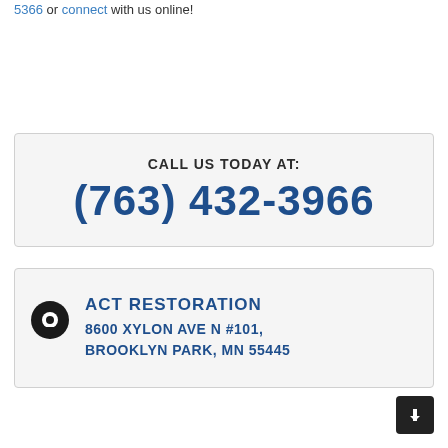5366 or connect with us online!
CALL US TODAY AT:
(763) 432-3966
ACT RESTORATION
8600 XYLON AVE N #101,
BROOKLYN PARK, MN 55445